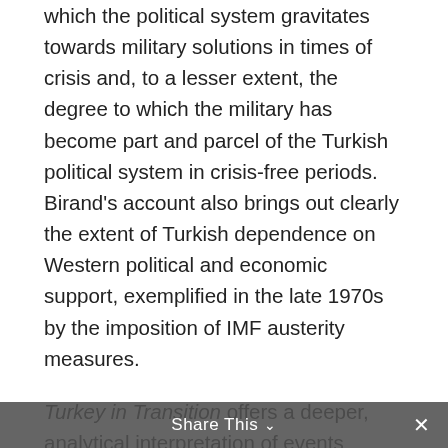which the political system gravitates towards military solutions in times of crisis and, to a lesser extent, the degree to which the military has become part and parcel of the Turkish political system in crisis-free periods. Birand's account also brings out clearly the extent of Turkish dependence on Western political and economic support, exemplified in the late 1970s by the imposition of IMF austerity measures.
Turkey in Transition offers a deeper, analytical interpretation of events preceding the 1980 coup. It is the fruit of what the editors term a revisionist school of Turkish scholars, and despite receiving almost no attention in the US.
Share This ∨  ×